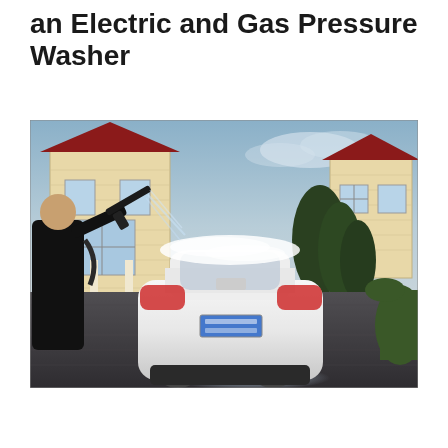an Electric and Gas Pressure Washer
[Figure (photo): A man pressure washing a white Nissan sports car (rear view) in a residential driveway. He holds a pressure washer gun, soap suds visible on the car and ground. Two houses with red roofs visible in background.]